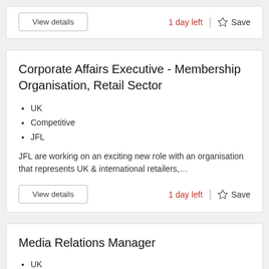View details | 1 day left | Save
Corporate Affairs Executive - Membership Organisation, Retail Sector
UK
Competitive
JFL
JFL are working on an exciting new role with an organisation that represents UK & international retailers,…
View details | 1 day left | Save
Media Relations Manager
UK